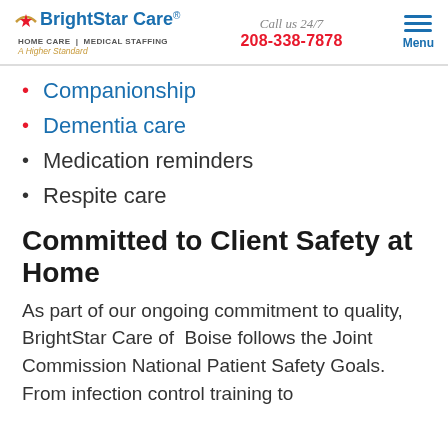BrightStar Care HOME CARE | MEDICAL STAFFING A Higher Standard | Call us 24/7 208-338-7878 | Menu
Companionship
Dementia care
Medication reminders
Respite care
Committed to Client Safety at Home
As part of our ongoing commitment to quality, BrightStar Care of  Boise follows the Joint Commission National Patient Safety Goals. From infection control training to